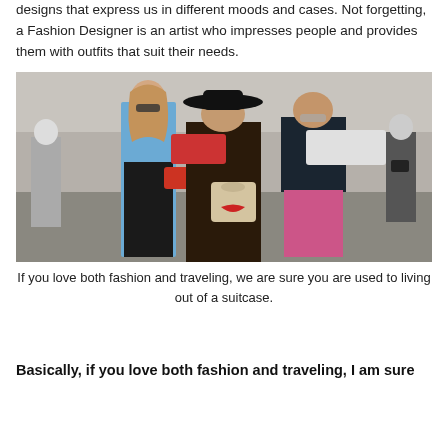designs that express us in different moods and cases. Not forgetting, a Fashion Designer is an artist who impresses people and provides them with outfits that suit their needs.
[Figure (photo): Three fashionably dressed women walking down a street, one wearing a wide-brimmed black hat and fur coat, one in a blue top with pink pom-poms and black trousers, and one in a dark athletic jacket with pink trousers. They are carrying designer handbags. Street scene with cars and people in the background.]
If you love both fashion and traveling, we are sure you are used to living out of a suitcase.
Basically, if you love both fashion and traveling, I am sure